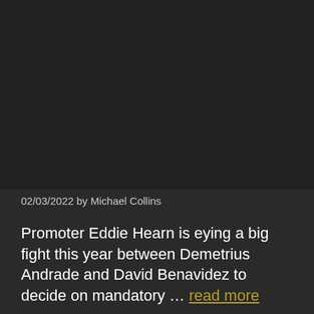[Figure (photo): Dark image area, presumably a boxing-related photo that is not visible due to rendering]
02/03/2022 by Michael Collins
Promoter Eddie Hearn is eying a big fight this year between Demetrius Andrade and David Benavidez to decide on mandatory … read more